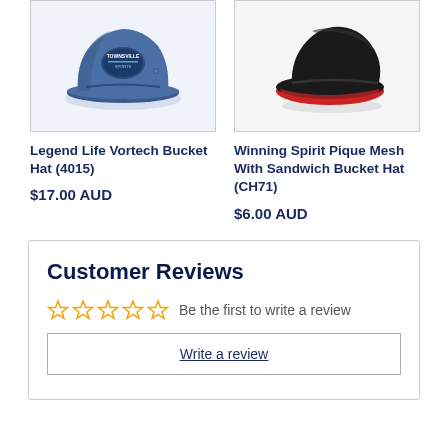[Figure (photo): Blue bucket hat with Townsville logo/badge on front]
Legend Life Vortech Bucket Hat (4015)
$17.00 AUD
[Figure (photo): Black bucket hat with red underbrim, shown from above]
Winning Spirit Pique Mesh With Sandwich Bucket Hat (CH71)
$6.00 AUD
Customer Reviews
Be the first to write a review
Write a review